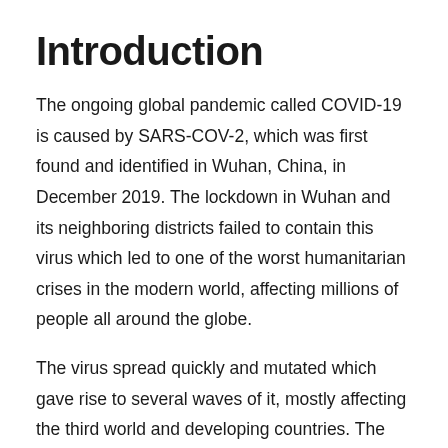Introduction
The ongoing global pandemic called COVID-19 is caused by SARS-COV-2, which was first found and identified in Wuhan, China, in December 2019. The lockdown in Wuhan and its neighboring districts failed to contain this virus which led to one of the worst humanitarian crises in the modern world, affecting millions of people all around the globe.
The virus spread quickly and mutated which gave rise to several waves of it, mostly affecting the third world and developing countries. The number of affected people is rising steadily as the world's